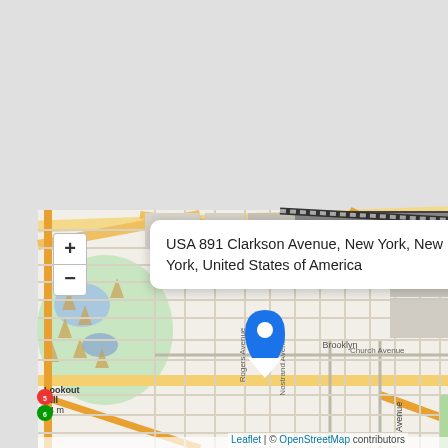[Figure (map): Leaflet/OpenStreetMap interactive map centered on Brooklyn, New York, showing street grid, Prospect Park area (Lookout Hill 54m), major roads including Fulton Street, NY 27, Rogers Avenue, Nostrand Avenue, Church Avenue, Foster Avenue. A blue map pin marker is placed at approximately 891 Clarkson Avenue. A white popup tooltip reads 'USA 891 Clarkson Avenue, New York, New York, United States of America'. Zoom controls (+/-) are in the upper left. Attribution reads 'Leaflet | © OpenStreetMap contributors'.]